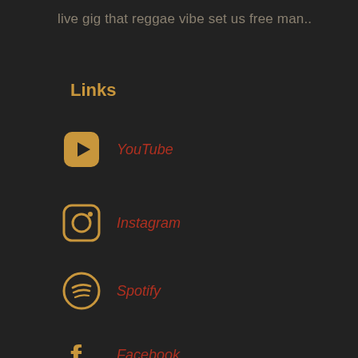live gig that reggae vibe set us free man..
Links
YouTube
Instagram
Spotify
Facebook